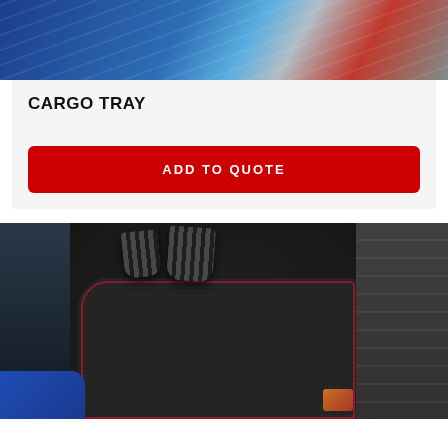[Figure (photo): Close-up photo of blue and red car exterior parts with chrome/metallic elements, partially visible at top of page]
CARGO TRAY
ADD TO QUOTE
[Figure (photo): Car interior photo showing black floor mat with dark red border, car pedals (brake and accelerator), left door panel in dark blue, and passenger seat on the right]